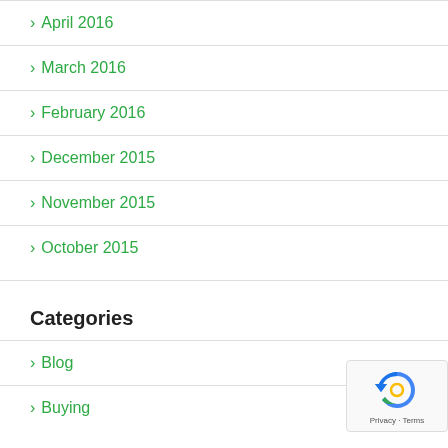April 2016
March 2016
February 2016
December 2015
November 2015
October 2015
Categories
Blog
Buying